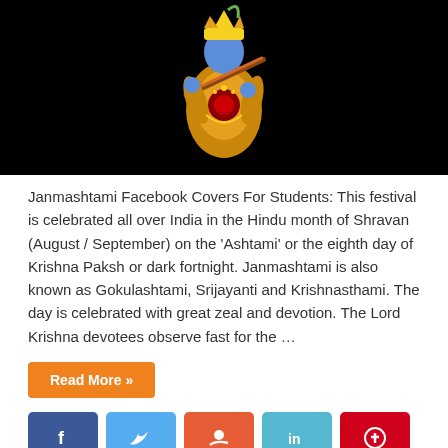[Figure (photo): Lord Krishna figure playing flute, colorful costume against a black background]
Janmashtami Facebook Covers For Students: This festival is celebrated all over India in the Hindu month of Shravan (August / September) on the ‘Ashtami’ or the eighth day of Krishna Paksh or dark fortnight. Janmashtami is also known as Gokulashtami, Srijayanti and Krishnasthami. The day is celebrated with great zeal and devotion. The Lord Krishna devotees observe fast for the …
Read More »
[Figure (infographic): Social media share buttons: Facebook (blue), Twitter (light blue), StumbleUpon (orange-red), LinkedIn (teal), Pinterest (red)]